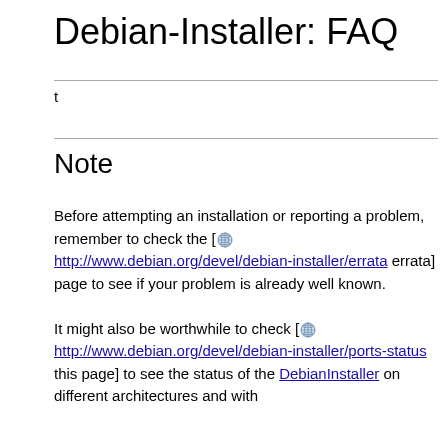Debian-Installer: FAQ
t
Note
Before attempting an installation or reporting a problem, remember to check the [ http://www.debian.org/devel/debian-installer/errata errata] page to see if your problem is already well known.

It might also be worthwhile to check [ http://www.debian.org/devel/debian-installer/ports-status this page] to see the status of the DebianInstaller on different architectures and with